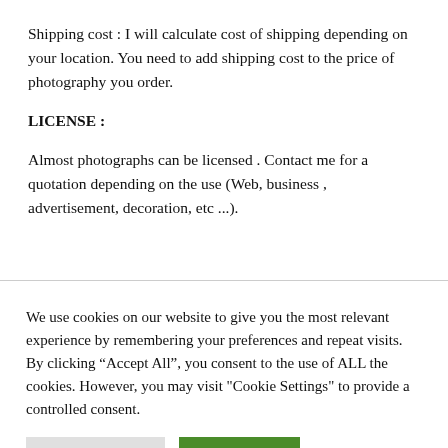Shipping cost : I will calculate cost of shipping depending on your location. You need to add shipping cost to the price of photography you order.
LICENSE :
Almost photographs can be licensed . Contact me for a quotation depending on the use (Web, business , advertisement, decoration, etc ...).
We use cookies on our website to give you the most relevant experience by remembering your preferences and repeat visits. By clicking “Accept All”, you consent to the use of ALL the cookies. However, you may visit "Cookie Settings" to provide a controlled consent.